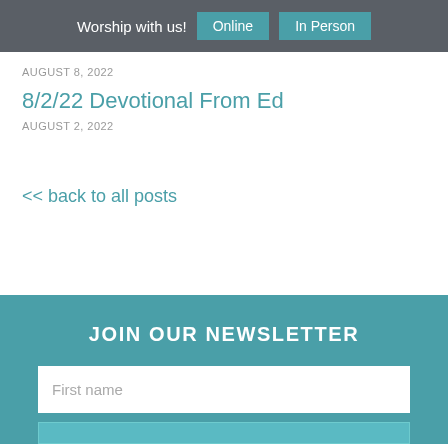Worship with us! Online In Person
AUGUST 8, 2022
8/2/22 Devotional From Ed
AUGUST 2, 2022
<< back to all posts
JOIN OUR NEWSLETTER
First name